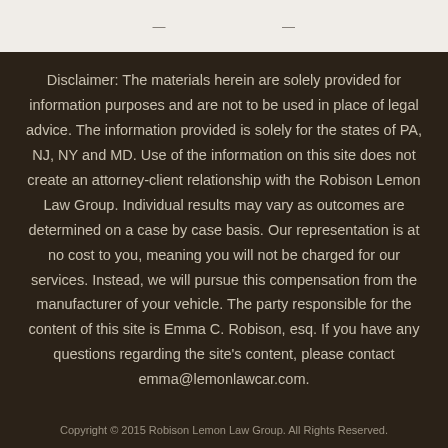— [partial header text] —
Disclaimer: The materials herein are solely provided for information purposes and are not to be used in place of legal advice. The information provided is solely for the states of PA, NJ, NY and MD. Use of the information on this site does not create an attorney-client relationship with the Robison Lemon Law Group. Individual results may vary as outcomes are determined on a case by case basis. Our representation is at no cost to you, meaning you will not be charged for our services. Instead, we will pursue this compensation from the manufacturer of your vehicle. The party responsible for the content of this site is Emma C. Robison, esq. If you have any questions regarding the site's content, please contact emma@lemonlawcar.com.
Copyright © 2015 Robison Lemon Law Group. All Rights Reserved.